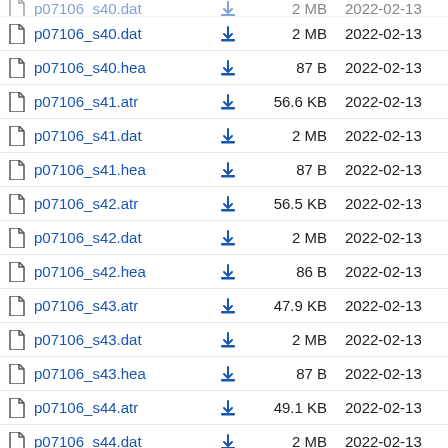p07106_s40.dat  2 MB  2022-02-13
p07106_s40.hea  87 B  2022-02-13
p07106_s41.atr  56.6 KB  2022-02-13
p07106_s41.dat  2 MB  2022-02-13
p07106_s41.hea  87 B  2022-02-13
p07106_s42.atr  56.5 KB  2022-02-13
p07106_s42.dat  2 MB  2022-02-13
p07106_s42.hea  86 B  2022-02-13
p07106_s43.atr  47.9 KB  2022-02-13
p07106_s43.dat  2 MB  2022-02-13
p07106_s43.hea  87 B  2022-02-13
p07106_s44.atr  49.1 KB  2022-02-13
p07106_s44.dat  2 MB  2022-02-13